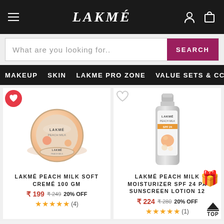LAKMÉ
What are you looking for..   SEARCH
MAKEUP   SKIN   LAKME PRO ZONE   VALUE SETS & CC
[Figure (photo): Lakmé Peach Milk Soft Cremé 100 GM product with circular jar and heart wishlist icon]
[Figure (photo): Lakmé Peach Milk Moisturizer SPF 24 PA Sunscreen Lotion product bottle with heart wishlist icon]
LAKMÉ PEACH MILK SOFT CREMÉ 100 GM
LAKMÉ PEACH MILK MOISTURIZER SPF 24 PA SUNSCREEN LOTION 12
₹ 199   ₹ 249 20% OFF
₹ 224   ₹ 280 20% OFF
★★★★★ (4)
★★★★★ (1)